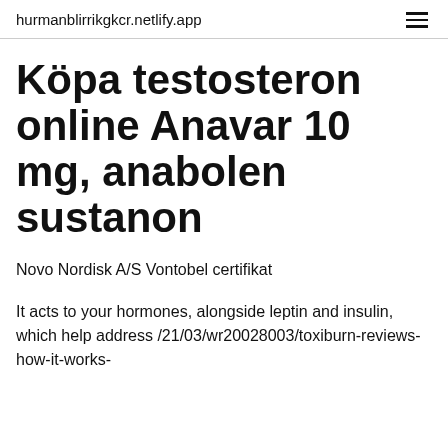hurmanblirrikgkcr.netlify.app
Köpa testosteron online Anavar 10 mg, anabolen sustanon
Novo Nordisk A/S Vontobel certifikat
It acts to your hormones, alongside leptin and insulin, which help address /21/03/wr20028003/toxiburn-reviews-how-it-works-